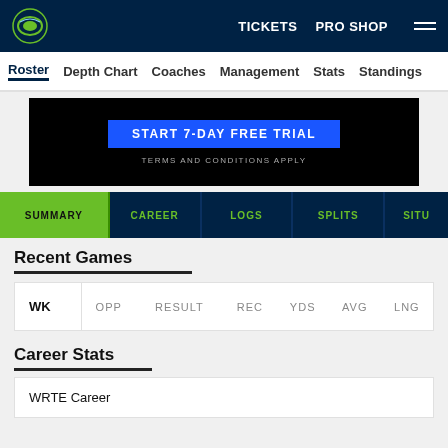TICKETS  PRO SHOP  ☰
Roster  Depth Chart  Coaches  Management  Stats  Standings
[Figure (screenshot): Advertisement banner with 'START 7-DAY FREE TRIAL' button and 'TERMS AND CONDITIONS APPLY' text on black background]
SUMMARY  CAREER  LOGS  SPLITS  SITU
Recent Games
| WK | OPP | RESULT | REC | YDS | AVG | LNG |
| --- | --- | --- | --- | --- | --- | --- |
Career Stats
WRTE Career